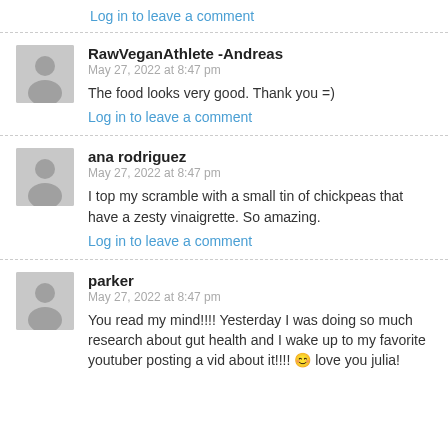Log in to leave a comment
RawVeganAthlete -Andreas
May 27, 2022 at 8:47 pm
The food looks very good. Thank you =)
Log in to leave a comment
ana rodriguez
May 27, 2022 at 8:47 pm
I top my scramble with a small tin of chickpeas that have a zesty vinaigrette. So amazing.
Log in to leave a comment
parker
May 27, 2022 at 8:47 pm
You read my mind!!!! Yesterday I was doing so much research about gut health and I wake up to my favorite youtuber posting a vid about it!!!! 😊 love you julia!